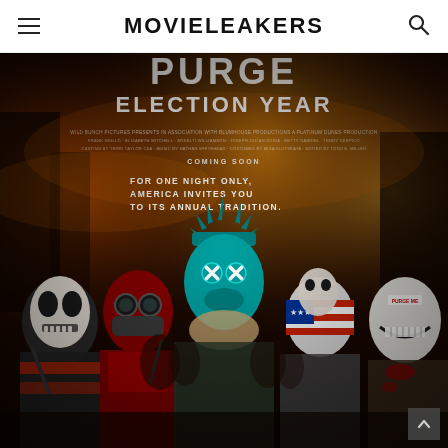MOVIELEAKERS
[Figure (photo): Movie poster for 'The Purge: Election Year' showing masked characters including a central figure wearing a Statue of Liberty crown mask with glowing teal X-stitched eyes, surrounded by other masked figures in a dark, fiery urban street setting. Text on poster reads: 'ELECTION YEAR', 'FOR ONE NIGHT ONLY, AMERICA INVITES YOU TO ITS ANNUAL TRADITION.' and 'COMING SOON']